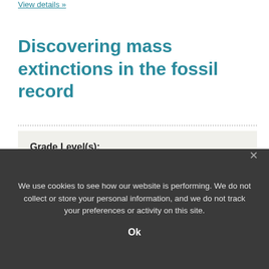View details »
Discovering mass extinctions in the fossil record
Grade Level(s):
13-16
Source:
We use cookies to see how our website is performing. We do not collect or store your personal information, and we do not track your preferences or activity on this site.
Ok